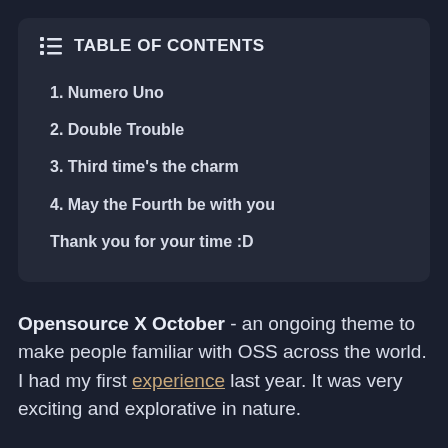TABLE OF CONTENTS
1. Numero Uno
2. Double Trouble
3. Third time's the charm
4. May the Fourth be with you
Thank you for your time :D
Opensource X October - an ongoing theme to make people familiar with OSS across the world. I had my first experience last year. It was very exciting and explorative in nature.